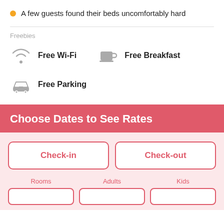A few guests found their beds uncomfortably hard
Freebies
Free Wi-Fi
Free Breakfast
Free Parking
Choose Dates to See Rates
Check-in
Check-out
Rooms
Adults
Kids